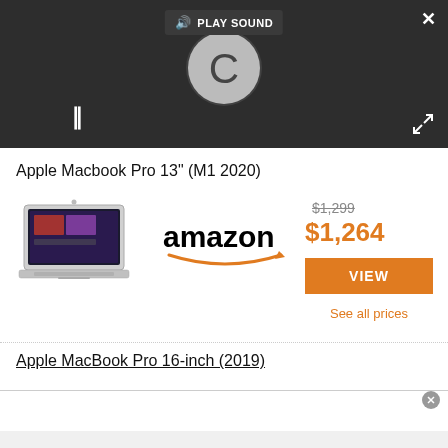[Figure (screenshot): Video player with dark background showing a loading spinner (C icon), pause button (||), PLAY SOUND button overlay, close (X) button top right, and expand arrows bottom right]
Apple Macbook Pro 13" (M1 2020)
[Figure (illustration): Apple MacBook Pro laptop product image, silver color, open, showing keyboard and screen]
[Figure (logo): Amazon logo in black with orange arrow smile]
$1,299
$1,264
VIEW
See all prices
Apple MacBook Pro 16-inch (2019)